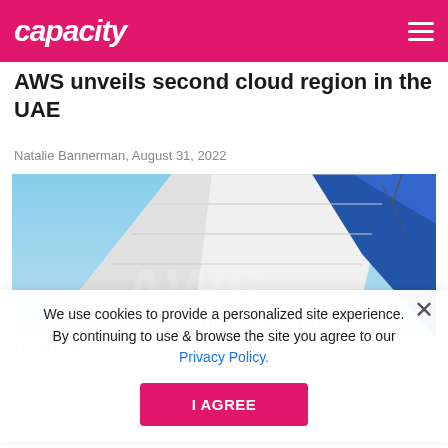capacity
AWS unveils second cloud region in the UAE
Natalie Bannerman, August 31, 2022
[Figure (photo): Upward angle photo of modern glass and metal building facade against a blue sky with bare tree branches.]
We use cookies to provide a personalized site experience. By continuing to use & browse the site you agree to our Privacy Policy.
I AGREE
Nokia says it is leading 6G conversation in the US
Saf Malik, August 31, 2022